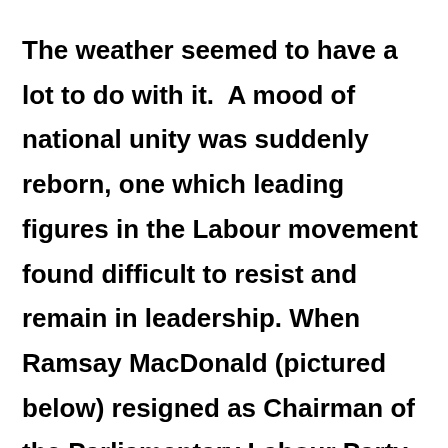The weather seemed to have a lot to do with it.  A mood of national unity was suddenly reborn, one which leading figures in the Labour movement found difficult to resist and remain in leadership. When Ramsay MacDonald (pictured below) resigned as Chairman of the Parliamentary Labour Party because of his own opposition to the war,